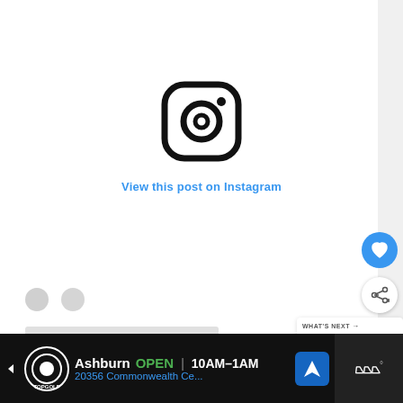[Figure (logo): Instagram camera logo icon in black outline]
View this post on Instagram
[Figure (infographic): Blue circular like/heart button, white circular share button, white circular more button, small heart and circle icons, skeleton loading bars, What's Next panel showing Top Ten Starbucks...]
[Figure (screenshot): Bottom advertisement bar: Topgolf logo, Ashburn OPEN 10AM-1AM, 20356 Commonwealth Ce..., navigation arrow icon, weather widget III degrees]
WHAT'S NEXT → Top Ten Starbucks...